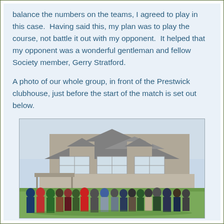balance the numbers on the teams, I agreed to play in this case.  Having said this, my plan was to play the course, not battle it out with my opponent.  It helped that my opponent was a wonderful gentleman and fellow Society member, Gerry Stratford.
A photo of our whole group, in front of the Prestwick clubhouse, just before the start of the match is set out below.
[Figure (photo): Group photo of approximately 16 men standing in a line on a golf course green in front of the Prestwick clubhouse (a stone building with white-framed windows). The men are dressed in golf attire including caps, jackets, and trousers, and some are holding golf clubs.]